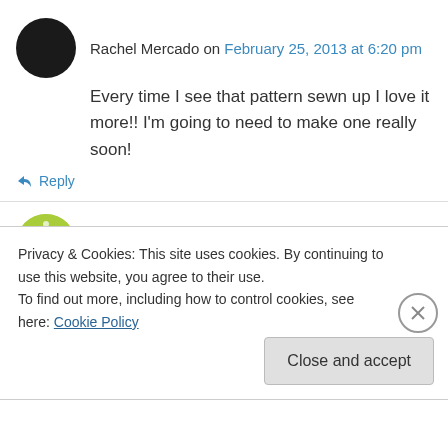Rachel Mercado on February 25, 2013 at 6:20 pm
Every time I see that pattern sewn up I love it more!! I'm going to need to make one really soon!
↳ Reply
Kathy on February 25, 2013 at 7:24 pm
Thanks for sharing your measurements and the size you used. Would you mind sharing you
Privacy & Cookies: This site uses cookies. By continuing to use this website, you agree to their use. To find out more, including how to control cookies, see here: Cookie Policy
Close and accept